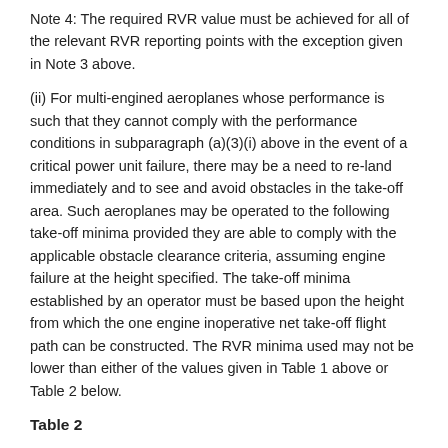Note 4: The required RVR value must be achieved for all of the relevant RVR reporting points with the exception given in Note 3 above.
(ii) For multi-engined aeroplanes whose performance is such that they cannot comply with the performance conditions in subparagraph (a)(3)(i) above in the event of a critical power unit failure, there may be a need to re-land immediately and to see and avoid obstacles in the take-off area. Such aeroplanes may be operated to the following take-off minima provided they are able to comply with the applicable obstacle clearance criteria, assuming engine failure at the height specified. The take-off minima established by an operator must be based upon the height from which the one engine inoperative net take-off flight path can be constructed. The RVR minima used may not be lower than either of the values given in Table 1 above or Table 2 below.
Table 2